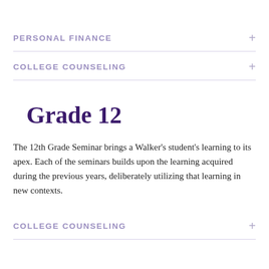PERSONAL FINANCE
COLLEGE COUNSELING
Grade 12
The 12th Grade Seminar brings a Walker's student's learning to its apex. Each of the seminars builds upon the learning acquired during the previous years, deliberately utilizing that learning in new contexts.
COLLEGE COUNSELING